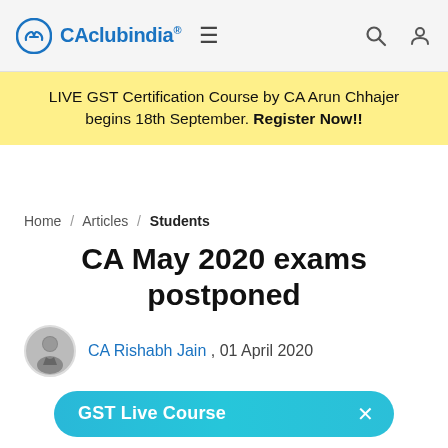CAclubindia® ≡ [search icon] [user icon]
LIVE GST Certification Course by CA Arun Chhajer begins 18th September. Register Now!!
Home / Articles / Students
CA May 2020 exams postponed
CA Rishabh Jain , 01 April 2020
GST Live Course